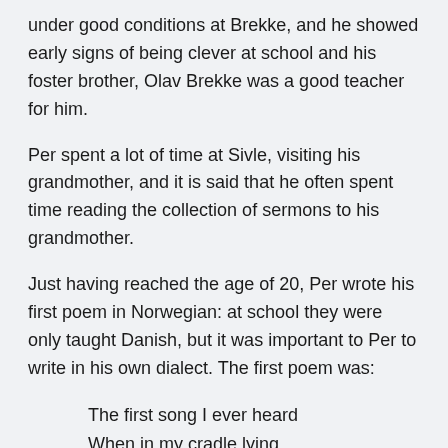under good conditions at Brekke, and he showed early signs of being clever at school and his foster brother, Olav Brekke was a good teacher for him.
Per spent a lot of time at Sivle, visiting his grandmother, and it is said that he often spent time reading the collection of sermons to his grandmother.
Just having reached the age of 20, Per wrote his first poem in Norwegian: at school they were only taught Danish, but it was important to Per to write in his own dialect. The first poem was:
The first song I ever heard
When in my cradle lying.
Was mother`s heartfelt lullaby
Which ended all my crying.
This is one of the best known...